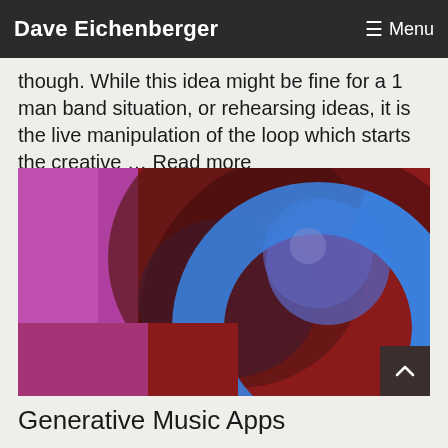Dave Eichenberger   ☰ Menu
though. While this idea might be fine for a 1 man band situation, or rehearsing ideas, it is the live manipulation of the loop which starts the creative … Read more
[Figure (illustration): Abstract digital art image with a blue ring/circle shape and a blue-purple sphere against a dark red and magenta background]
Generative Music Apps